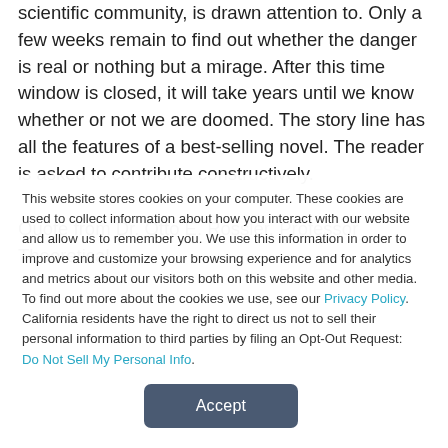scientific community, is drawn attention to. Only a few weeks remain to find out whether the danger is real or nothing but a mirage. After this time window is closed, it will take years until we know whether or not we are doomed. The story line has all the features of a best-selling novel. The reader is asked to contribute constructively.
Quote from Dr. Otto E. Rossler, Professor Theoretical
This website stores cookies on your computer. These cookies are used to collect information about how you interact with our website and allow us to remember you. We use this information in order to improve and customize your browsing experience and for analytics and metrics about our visitors both on this website and other media. To find out more about the cookies we use, see our Privacy Policy. California residents have the right to direct us not to sell their personal information to third parties by filing an Opt-Out Request: Do Not Sell My Personal Info.
Accept